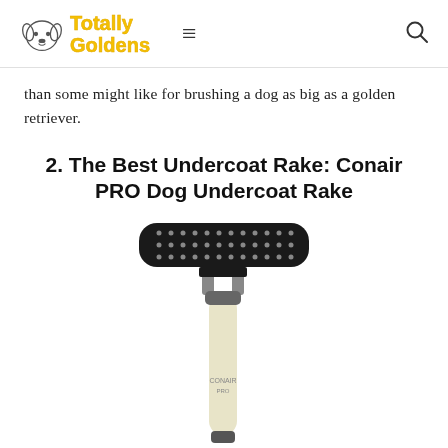Totally Goldens
than some might like for brushing a dog as big as a golden retriever.
2. The Best Undercoat Rake: Conair PRO Dog Undercoat Rake
[Figure (photo): Conair PRO Dog Undercoat Rake — a T-shaped grooming tool with a wide black head containing small metal pins/tines and a cream/ivory colored ergonomic handle with the Conair PRO logo printed on it.]